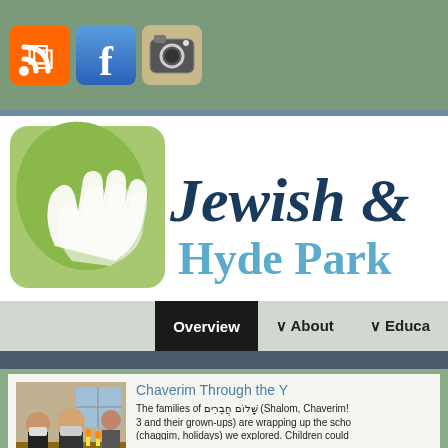[Figure (screenshot): Social media icons bar with RSS, Facebook, and Instagram icons on green background]
[Figure (logo): Jewish organization logo with hands graphic and text 'Jewish ... Hyde Park']
Overview   ∨ About   ∨ Educa...
Chaverim Through the Y...
[Figure (photo): Children and adults sitting around a table with candles, wearing masks]
The families of שָׁלוֹם חֲבֵרִים (Shalom, Chaverim!... 3 and their grown-ups) are wrapping up the scho... (chaggim, holidays) we explored. Children could...